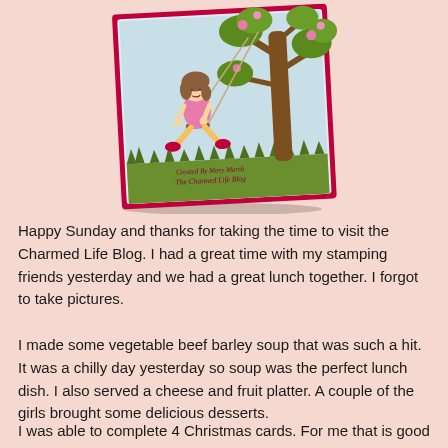[Figure (illustration): A handmade greeting card showing a little girl in a pink dress swinging on a rope swing attached to a tree with green leaves and pink flowers. Green grass at the bottom. Text on card reads 'Created By Mary Marsh The Charmed Life Blog'. Card has a red border and is shown at an angle with a drop shadow.]
Happy Sunday and thanks for taking the time to visit the Charmed Life Blog. I had a great time with my stamping friends yesterday and we had a great lunch together. I forgot to take pictures.
I made some vegetable beef barley soup that was such a hit. It was a chilly day yesterday so soup was the perfect lunch dish. I also served a cheese and fruit platter. A couple of the girls brought some delicious desserts.
I was able to complete 4 Christmas cards. For me that is good because I am such a slow crafter. Everyone was